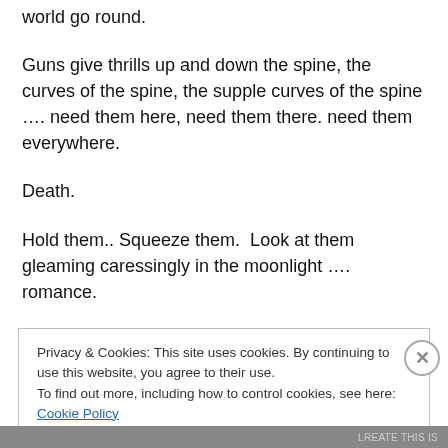world go round.
Guns give thrills up and down the spine, the curves of the spine, the supple curves of the spine …. need them here, need them there. need them everywhere.
Death.
Hold them.. Squeeze them.  Look at them gleaming caressingly in the moonlight …. romance.
Thrills in the night.
Privacy & Cookies: This site uses cookies. By continuing to use this website, you agree to their use.
To find out more, including how to control cookies, see here: Cookie Policy
Close and accept